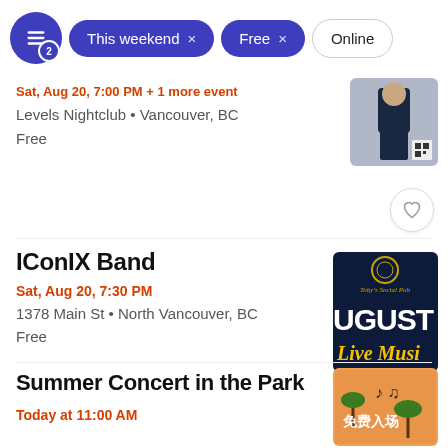Filters: This weekend x, Free x, Online
Sat, Aug 20, 7:00 PM + 1 more event
Levels Nightclub • Vancouver, BC
Free
IConIX Band
Sat, Aug 20, 7:30 PM
1378 Main St • North Vancouver, BC
Free
Summer Concert in the Park
Today at 11:00 AM